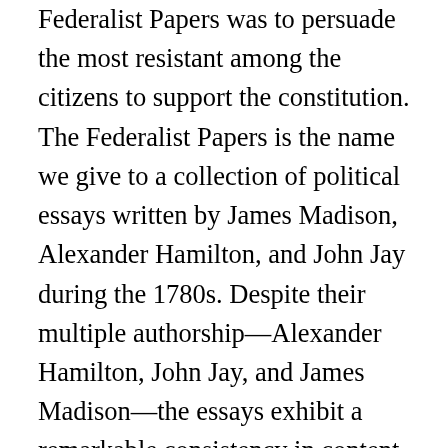Federalist Papers was to persuade the most resistant among the citizens to support the constitution. The Federalist Papers is the name we give to a collection of political essays written by James Madison, Alexander Hamilton, and John Jay during the 1780s. Despite their multiple authorship—Alexander Hamilton, John Jay, and James Madison—the essays exhibit a remarkable consistency in content, style, and tone. On first glance, this might be the primary purpose of the papers but indeed, The Federalist papers are concerned with much more. 23. Hamilton opened Federalist 1 by raising the momentousness of the choice that lay before